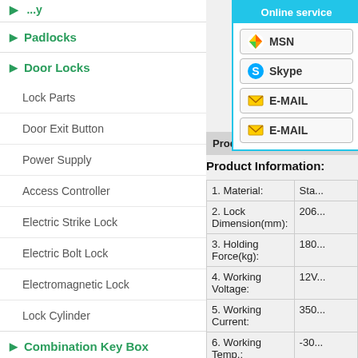▶ Padlocks
▶ Door Locks
Lock Parts
Door Exit Button
Power Supply
Access Controller
Electric Strike Lock
Electric Bolt Lock
Electromagnetic Lock
Lock Cylinder
▶ Combination Key Box
Online service
MSN
Skype
E-MAIL
E-MAIL
Produ...
Product Information:
| Property | Value |
| --- | --- |
| 1. Material: | Sta... |
| 2. Lock Dimension(mm): | 206... |
| 3. Holding Force(kg): | 180... |
| 4. Working Voltage: | 12V... |
| 5. Working Current: | 350... |
| 6. Working Temp.: | -30... |
| 7. Relative humidity: | 10%... |
| 8. Finish: | Chr... |
| 9. Weight(kg): | 1.2 |
| 10. Safety T... | Pow... |